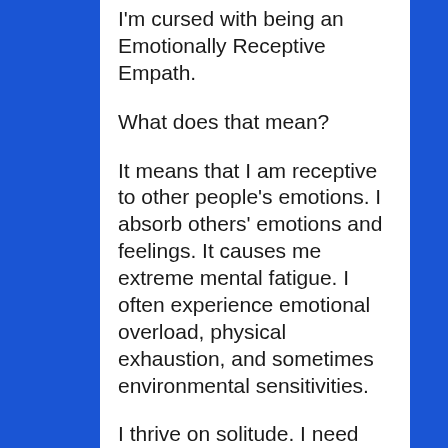I'm cursed with being an Emotionally Receptive Empath.
What does that mean?
It means that I am receptive to other people's emotions. I absorb others' emotions and feelings. It causes me extreme mental fatigue. I often experience emotional overload, physical exhaustion, and sometimes environmental sensitivities.
I thrive on solitude. I need my